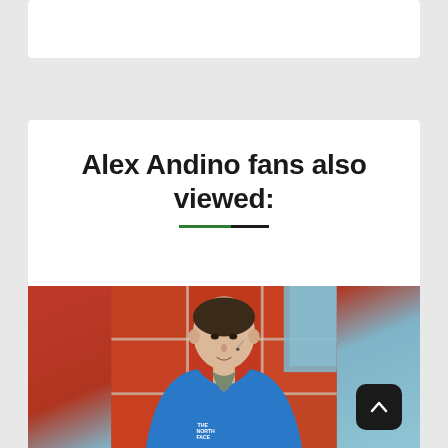[Figure (photo): White banner/ad area at the top of the page]
Alex Andino fans also viewed:
[Figure (photo): Photo of a man wearing a blue North Face jacket with a microphone on his face, speaking in front of an orange and blue background]